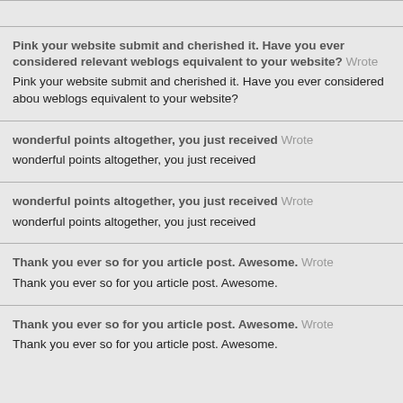Pink your website submit and cherished it. Have you ever considered relevant weblogs equivalent to your website? Wrote
Pink your website submit and cherished it. Have you ever considered about weblogs equivalent to your website?
wonderful points altogether, you just received Wrote
wonderful points altogether, you just received
wonderful points altogether, you just received Wrote
wonderful points altogether, you just received
Thank you ever so for you article post. Awesome. Wrote
Thank you ever so for you article post. Awesome.
Thank you ever so for you article post. Awesome. Wrote
Thank you ever so for you article post. Awesome.